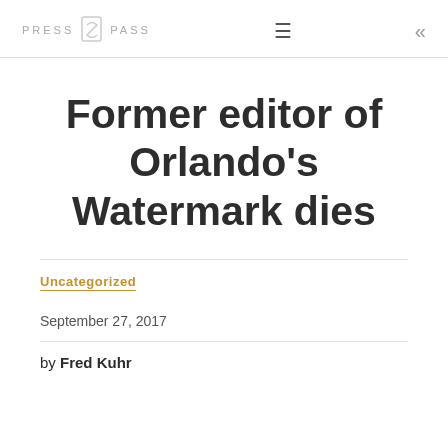PRESS Q PASS
Former editor of Orlando's Watermark dies
Uncategorized
September 27, 2017
by Fred Kuhr